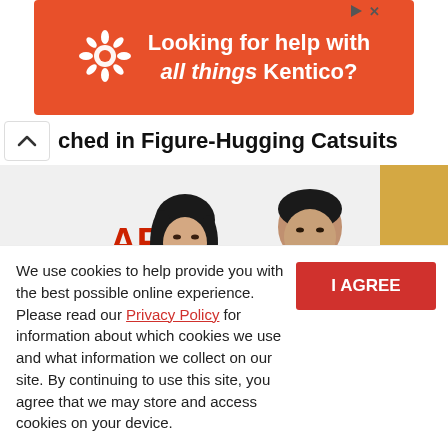[Figure (other): Orange advertisement banner reading 'Looking for help with all things Kentico?' with a white snowflake/asterisk icon on the left]
ched in Figure-Hugging Catsuits
[Figure (photo): Photo of two people at AFI FEST event — a woman with dark hair and a man in dark suit, posed in front of an AFI FEST backdrop with Audi logo visible]
We use cookies to help provide you with the best possible online experience. Please read our Privacy Policy for information about which cookies we use and what information we collect on our site. By continuing to use this site, you agree that we may store and access cookies on your device.